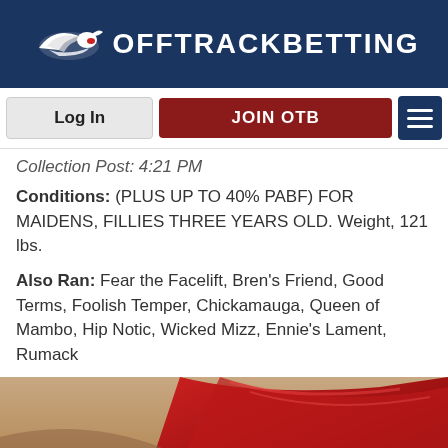OffTrackBetting
Collection Post: 4:21 PM
Conditions: (PLUS UP TO 40% PABF) FOR MAIDENS, FILLIES THREE YEARS OLD. Weight, 121 lbs.
Also Ran: Fear the Facelift, Bren's Friend, Good Terms, Foolish Temper, Chickamauga, Queen of Mambo, Hip Notic, Wicked Mizz, Ennie's Lament, Rumack
[Figure (photo): Close-up photo of red racing silks/fabric at a racetrack, with overlay text 'Watch Parx Racing Race Replays']